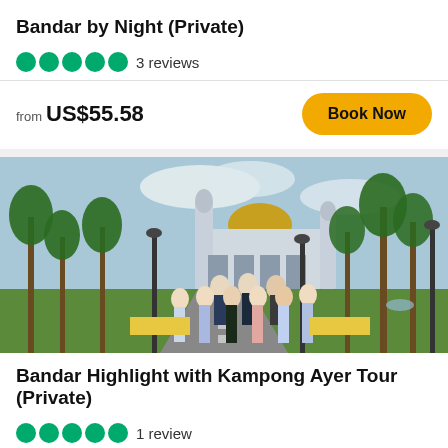Bandar by Night (Private)
3 reviews
from US$55.58
Book Now
[Figure (photo): Group of tourists posing in front of a mosque with palm trees in Bandar Seri Begawan, Brunei.]
Bandar Highlight with Kampong Ayer Tour (Private)
1 review
from US$58.40
Book Now